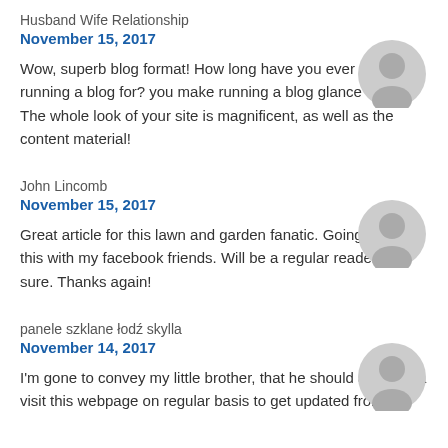Husband Wife Relationship
November 15, 2017
Wow, superb blog format! How long have you ever been running a blog for? you make running a blog glance easy. The whole look of your site is magnificent, as well as the content material!
John Lincomb
November 15, 2017
Great article for this lawn and garden fanatic. Going to share this with my facebook friends. Will be a regular reader for sure. Thanks again!
panele szklane łodź skylla
November 14, 2017
I'm gone tо convey my little brother, that he should also pay a visit this webpage on regular basis to get updated from